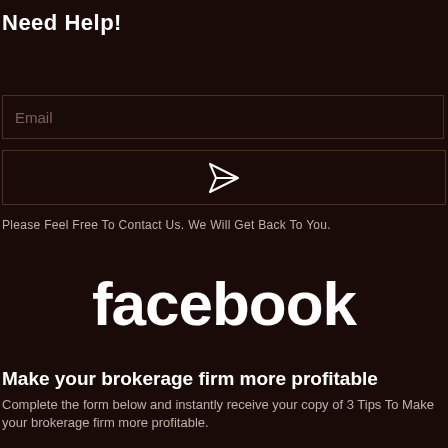Need Help!
[Figure (screenshot): Email input field with placeholder text 'Email' and a dark border]
[Figure (screenshot): Send button with paper airplane icon]
Please Feel Free To Contact Us. We Will Get Back To You.
[Figure (logo): Facebook logo text in white on dark brown background]
Make your brokerage firm more profitable
Complete the form below and instantly receive your copy of 3 Tips To Make your brokerage firm more profitable.